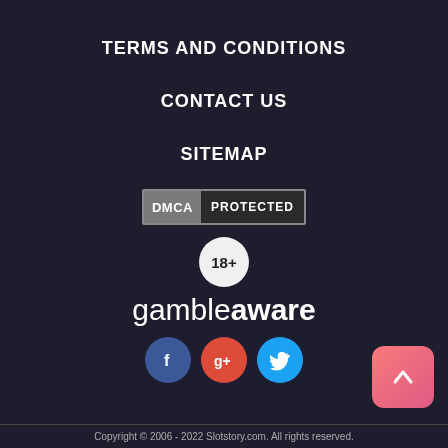TERMS AND CONDITIONS
CONTACT US
SITEMAP
[Figure (logo): DMCA PROTECTED badge with grey left panel and dark right panel]
[Figure (infographic): 18+ age restriction badge, white circle with dark text]
[Figure (logo): gambleaware logo in white text]
[Figure (infographic): Social media icons: Facebook (blue), Google+ (red), Twitter (blue)]
[Figure (other): Back to top button, pink/salmon rounded square with upward chevron]
Copyright © 2006 - 2022 Slotstory.com. All rights reserved.